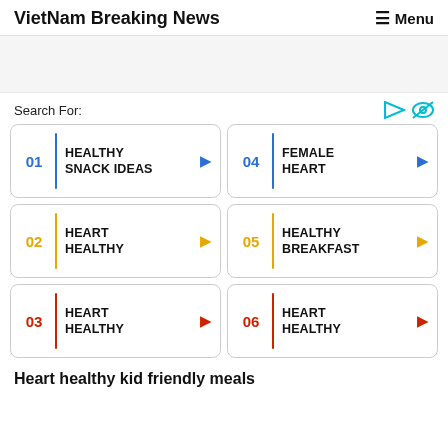VietNam Breaking News   Menu
Search For:
01  HEALTHY SNACK IDEAS
04  FEMALE HEART
02  HEART HEALTHY
05  HEALTHY BREAKFAST
03  HEART HEALTHY
06  HEART HEALTHY
Heart healthy kid friendly meals